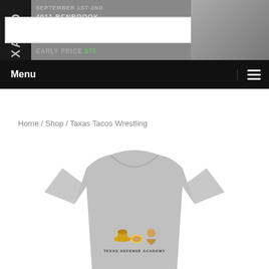[Figure (screenshot): Website header banner with dark left panel showing 'TEXAS D' text vertically, banner text showing address and event info, search bar with Search button]
Search
SEPTEMBER 1ST-2ND
4011 BENBROOK
EARLY PRICE $75
Menu
Home / Shop / Taxas Tacos Wrestling
[Figure (photo): Gray heather t-shirt with Texas Defense Academy logo showing cartoon cowboy, taco, and wrestler icons with text 'TEXAS DEFENSE ACADEMY']